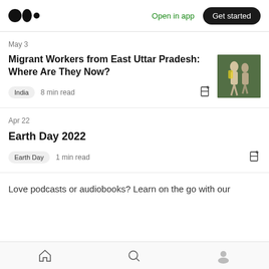Medium logo | Open in app | Get started
May 3
Migrant Workers from East Uttar Pradesh: Where Are They Now?
India  8 min read
[Figure (photo): Thumbnail photo of migrant workers walking]
Apr 22
Earth Day 2022
Earth Day  1 min read
Love podcasts or audiobooks? Learn on the go with our
Home | Search | Profile